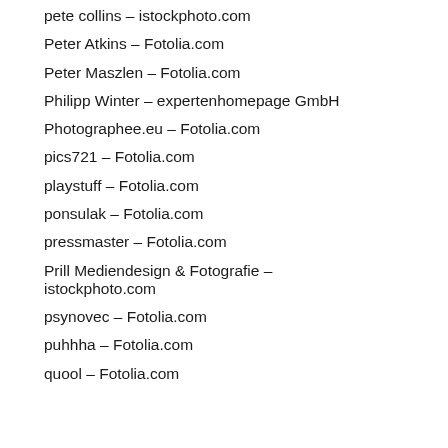pete collins – istockphoto.com
Peter Atkins – Fotolia.com
Peter Maszlen – Fotolia.com
Philipp Winter – expertenhomepage GmbH
Photographee.eu – Fotolia.com
pics721 – Fotolia.com
playstuff – Fotolia.com
ponsulak – Fotolia.com
pressmaster – Fotolia.com
Prill Mediendesign & Fotografie – istockphoto.com
psynovec – Fotolia.com
puhhha – Fotolia.com
quool – Fotolia.com